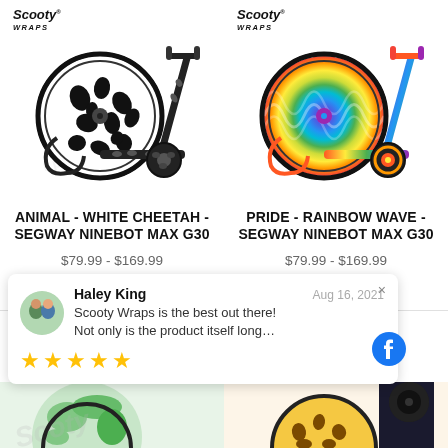[Figure (photo): Scooter with white/black cheetah animal print wrap on wheel and body — Segway Ninebot Max G30, Scooty Wraps branded product image]
ANIMAL - WHITE CHEETAH - SEGWAY NINEBOT MAX G30
$79.99 - $169.99
[Figure (photo): Scooter with rainbow wave multicolor wrap on wheel and body — Segway Ninebot Max G30, Scooty Wraps branded product image]
PRIDE - RAINBOW WAVE - SEGWAY NINEBOT MAX G30
$79.99 - $169.99
Haley King
Aug 16, 2021
Scooty Wraps is the best out there! Not only is the product itself long…
★★★★★